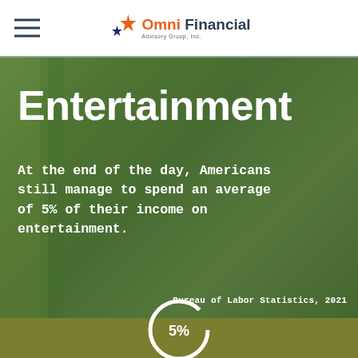[Figure (logo): Omni Financial Advisory Group Inc. logo with orange and navy star icons and company name]
[Figure (photo): Children on a playground ride, smiling, with green overlay. Hero image for Entertainment section.]
Entertainment
At the end of the day, Americans still manage to spend an average of 5% of their income on entertainment.
Bureau of Labor Statistics, 2021
[Figure (donut-chart): Partial donut chart showing 5% of income spent on entertainment, white circle on olive background]